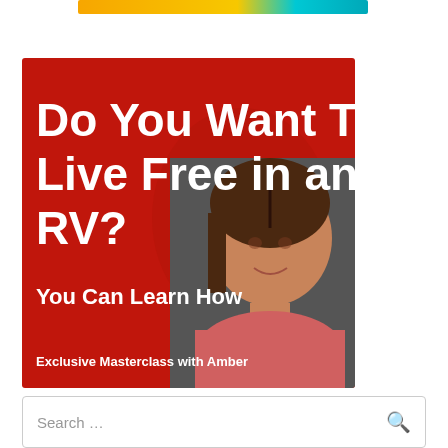[Figure (illustration): Orange and teal banner advertisement at top of page]
[Figure (illustration): Red promotional banner image reading 'Do You Want To Live Free in an RV? You Can Learn How — Exclusive Masterclass with Amber', featuring a woman's photo on the right side]
Search ...